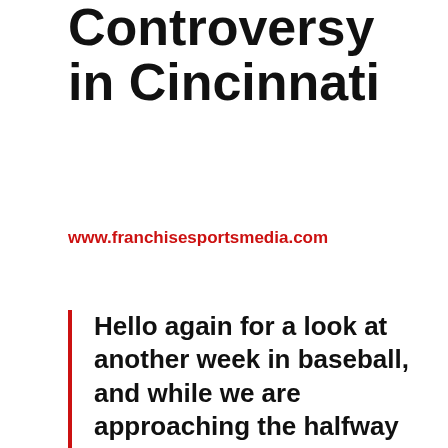Controversy in Cincinnati
www.franchisesportsmedia.com
Hello again for a look at another week in baseball, and while we are approaching the halfway point of this shortened season, social media has been swirling like hurricanes with these two huge stories all last week.